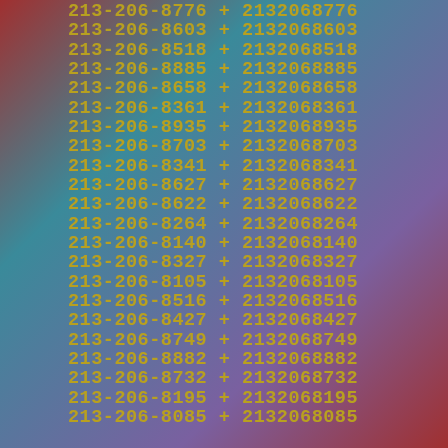213-206-8776 + 2132068776
213-206-8603 + 2132068603
213-206-8518 + 2132068518
213-206-8885 + 2132068885
213-206-8658 + 2132068658
213-206-8361 + 2132068361
213-206-8935 + 2132068935
213-206-8703 + 2132068703
213-206-8341 + 2132068341
213-206-8627 + 2132068627
213-206-8622 + 2132068622
213-206-8264 + 2132068264
213-206-8140 + 2132068140
213-206-8327 + 2132068327
213-206-8105 + 2132068105
213-206-8516 + 2132068516
213-206-8427 + 2132068427
213-206-8749 + 2132068749
213-206-8882 + 2132068882
213-206-8732 + 2132068732
213-206-8195 + 2132068195
213-206-8085 + 2132068085